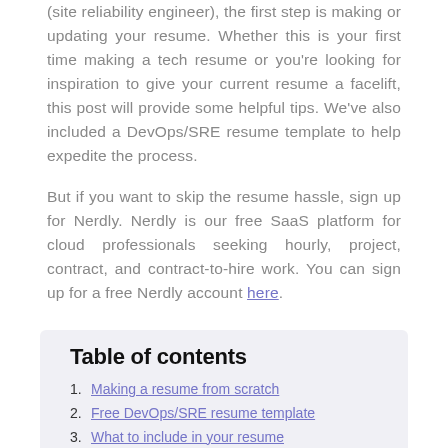(site reliability engineer), the first step is making or updating your resume. Whether this is your first time making a tech resume or you're looking for inspiration to give your current resume a facelift, this post will provide some helpful tips. We've also included a DevOps/SRE resume template to help expedite the process.
But if you want to skip the resume hassle, sign up for Nerdly. Nerdly is our free SaaS platform for cloud professionals seeking hourly, project, contract, and contract-to-hire work. You can sign up for a free Nerdly account here.
Table of contents
1. Making a resume from scratch
2. Free DevOps/SRE resume template
3. What to include in your resume
4. Customizing your resume for specific jobs